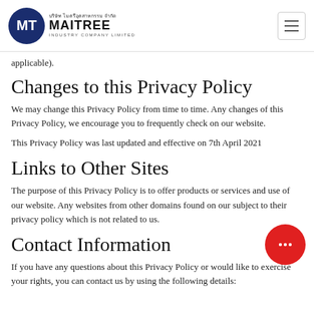MAITREE INDUSTRY COMPANY LIMITED
applicable).
Changes to this Privacy Policy
We may change this Privacy Policy from time to time. Any changes of this Privacy Policy, we encourage you to frequently check on our website.
This Privacy Policy was last updated and effective on 7th April 2021
Links to Other Sites
The purpose of this Privacy Policy is to offer products or services and use of our website. Any websites from other domains found on our subject to their privacy policy which is not related to us.
Contact Information
If you have any questions about this Privacy Policy or would like to exercise your rights, you can contact us by using the following details: